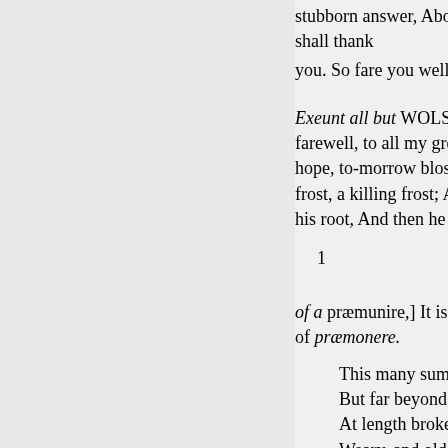stubborn answer, About the giv shall thank
you. So fare you well, my litt
Exeunt all but WOLSEY. W farewell, to all my greatness! T hope, to-morrow blossoms, An frost, a killing frost; And when his root, And then he falls, as I
1
of a præmunire,] It is almost un of præmonere.
This many summers in a But far beyond my depth At length broke under me Weary, and old with serv Of a rude stream, that mu Vain pomp, and glory of I feel my heart new open Is that poor man, that ha There is, betwixt that sm